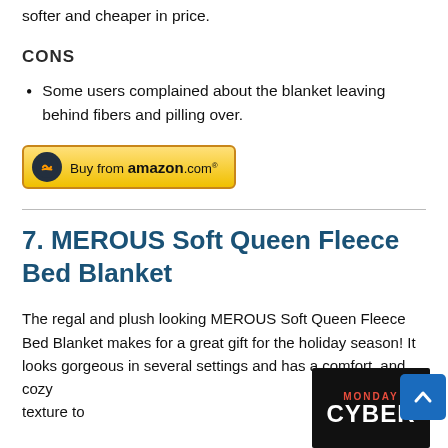softer and cheaper in price.
CONS
Some users complained about the blanket leaving behind fibers and pilling over.
[Figure (logo): Buy from amazon.com button with yellow background and Amazon logo]
7. MEROUS Soft Queen Fleece Bed Blanket
The regal and plush looking MEROUS Soft Queen Fleece Bed Blanket makes for a great gift for the holiday season! It looks gorgeous in several settings and has a comfort and cozy texture to
[Figure (photo): Cyber Monday logo/badge on black background]